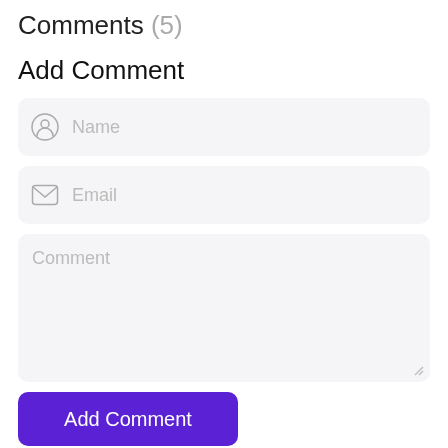Comments (5)
Add Comment
Name
Email
Comment
Add Comment